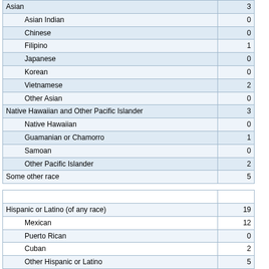| Race | Number |
| --- | --- |
| Asian | 3 |
| Asian Indian | 0 |
| Chinese | 0 |
| Filipino | 1 |
| Japanese | 0 |
| Korean | 0 |
| Vietnamese | 2 |
| Other Asian | 0 |
| Native Hawaiian and Other Pacific Islander | 3 |
| Native Hawaiian | 0 |
| Guamanian or Chamorro | 1 |
| Samoan | 0 |
| Other Pacific Islander | 2 |
| Some other race | 5 |
| Hispanic Statistics | Number |
| --- | --- |
| Hispanic or Latino (of any race) | 19 |
| Mexican | 12 |
| Puerto Rican | 0 |
| Cuban | 2 |
| Other Hispanic or Latino | 5 |
| Not Hispanic or Latino | 846 |
Additional Race Distribution Reports
Percentage of Whites in Missouri by City
Percentage of Blacks (African Americans) in Missouri by City
Percentage of Natives in Missouri by City
Percentage of Asians in Missouri by City